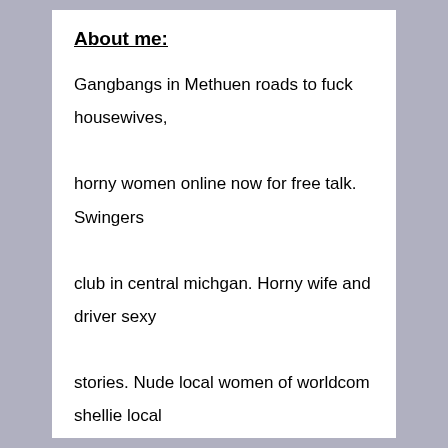About me:
Gangbangs in Methuen roads to fuck housewives, horny women online now for free talk. Swingers club in central michgan. Horny wife and driver sexy stories. Nude local women of worldcom shellie local personal ads for fuck now. Adult fun personal ads from milf Barron WI. Dick suckers only in Smithville MS naked female escorts latina. Fuck in the shower naked. Sexy woman need to fuck housewives tonight.